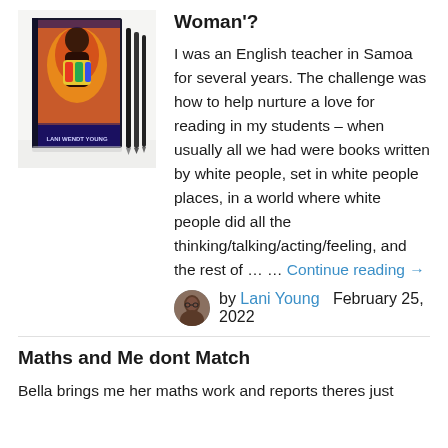[Figure (photo): Photo of a book titled 'LANI WENDT YOUNG' with pens beside it on a white surface]
Woman'?
I was an English teacher in Samoa for several years. The challenge was how to help nurture a love for reading in my students – when usually all we had were books written by white people, set in white people places, in a world where white people did all the thinking/talking/acting/feeling, and the rest of … … Continue reading →
by Lani Young   February 25, 2022
Maths and Me dont Match
Bella brings me her maths work and reports theres just